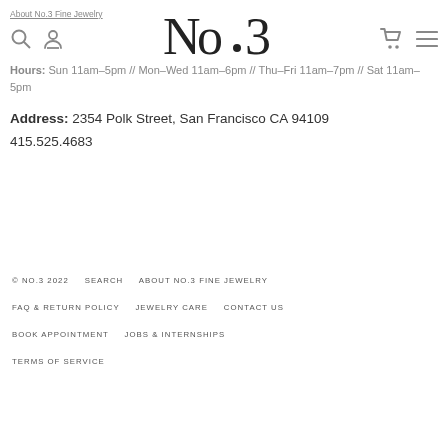About No.3 Fine Jewelry (nav link)
[Figure (logo): No.3 Fine Jewelry logo — stylized 'No' with superscript dot and '3' in large serif font]
Hours: Sun 11am–5pm // Mon–Wed 11am–6pm // Thu–Fri 11am–7pm // Sat 11am–5pm
Address: 2354 Polk Street, San Francisco CA 94109
415.525.4683
© NO.3 2022    SEARCH    ABOUT NO.3 FINE JEWELRY
FAQ & RETURN POLICY    JEWELRY CARE    CONTACT US
BOOK APPOINTMENT    JOBS & INTERNSHIPS
TERMS OF SERVICE